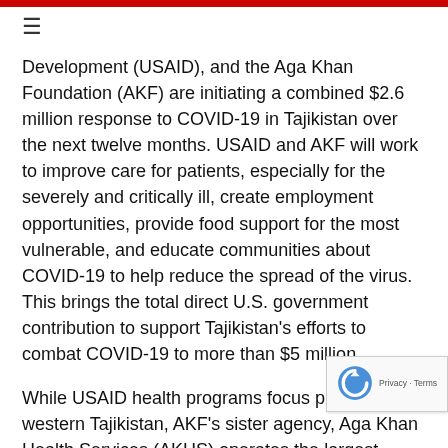≡
Development (USAID), and the Aga Khan Foundation (AKF) are initiating a combined $2.6 million response to COVID-19 in Tajikistan over the next twelve months. USAID and AKF will work to improve care for patients, especially for the severely and critically ill, create employment opportunities, provide food support for the most vulnerable, and educate communities about COVID-19 to help reduce the spread of the virus. This brings the total direct U.S. government contribution to support Tajikistan's efforts to combat COVID-19 to more than $5 million.
While USAID health programs focus primarily in western Tajikistan, AKF's sister agency, Aga Khan Health Services (AKHS) operates the largest health care facility in eastern Tajikistan as well as other clinics and a network of community health programs. To improve care in facilities